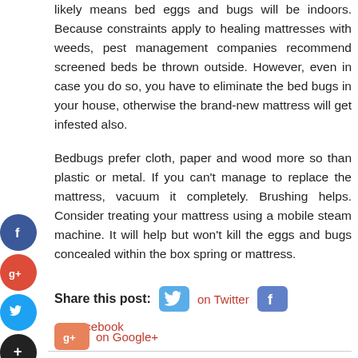likely means bed eggs and bugs will be indoors. Because constraints apply to healing mattresses with weeds, pest management companies recommend screened beds be thrown outside. However, even in case you do so, you have to eliminate the bed bugs in your house, otherwise the brand-new mattress will get infested also.

Bedbugs prefer cloth, paper and wood more so than plastic or metal. If you can't manage to replace the mattress, vacuum it completely. Brushing helps. Consider treating your mattress using a mobile steam machine. It will help but won't kill the eggs and bugs concealed within the box spring or mattress.
Share this post: on Twitter on Facebook on Google+